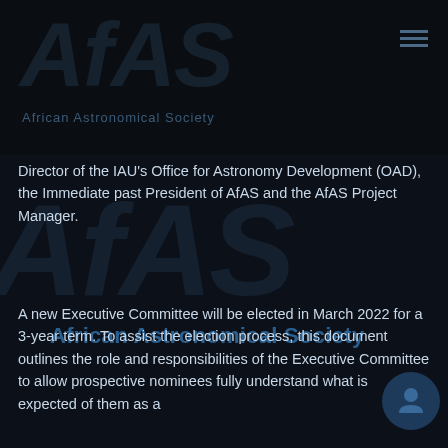[Figure (logo): African Astronomical Society (AFAS) logo with large italic AFAS text and subtitle 'African Astronomical Society' below]
Director of the IAU's Office for Astronomy Development (OAD), the Immediate past President of AfAS and the AfAS Project Manager.
A new Executive Committee will be elected in March 2022 for a 3-year term. To assist the election process, this document outlines the role and responsibilities of the Executive Committee to allow prospective nominees fully understand what is expected of them as a